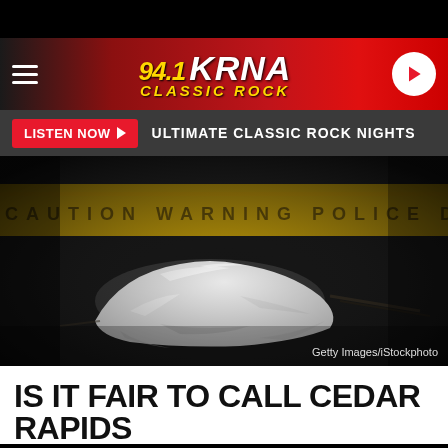[Figure (logo): 94.1 KRNA Classic Rock radio station logo on red gradient header with hamburger menu and play button]
LISTEN NOW ▶  ULTIMATE CLASSIC ROCK NIGHTS
[Figure (photo): Crime scene photo showing a body covered with a white sheet on dark ground, with yellow police caution tape in the background. Credit: Getty Images/iStockphoto]
IS IT FAIR TO CALL CEDAR RAPIDS